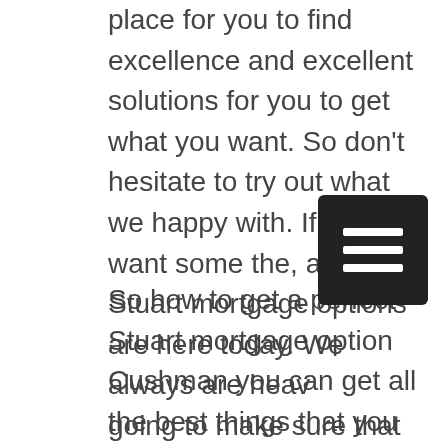place for you to find excellence and excellent solutions for you to get what you want. So don't hesitate to try out what we happy with. If you want some the, and our Stuart mortgage options are here today. We always are heavily going to make sure that you are fighting so much good things you wanted and you needed is what, then this is really just going to give you all the things that you ever can desire here.
So how to get a perfect Stuart mortgage option Cushman you can get all the best things that you ever could want to that you can desire as well, because if you needing a result, then you give it a just that we have a lot of amazing things for you that are available to anything that you ever wondered. To try things out today, because we know that we have a can